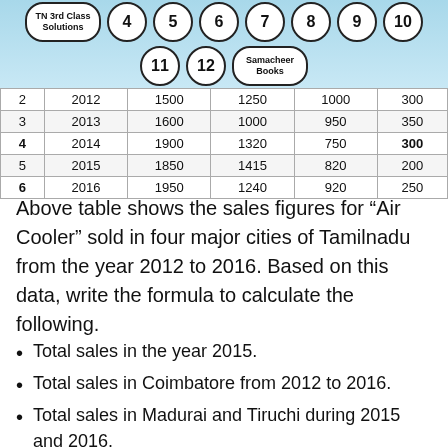TN 3rd Class Solutions | 4 5 6 7 8 9 10 | 11 12 Samacheer Books
| S.No | Year | Chennai | Coimbatore | Madurai | Tiruchi |
| --- | --- | --- | --- | --- | --- |
| 2 | 2012 | 1500 | 1250 | 1000 | 300 |
| 3 | 2013 | 1600 | 1000 | 950 | 350 |
| 4 | 2014 | 1900 | 1320 | 750 | 300 |
| 5 | 2015 | 1850 | 1415 | 820 | 200 |
| 6 | 2016 | 1950 | 1240 | 920 | 250 |
Above table shows the sales figures for “Air Cooler” sold in four major cities of Tamilnadu from the year 2012 to 2016. Based on this data, write the formula to calculate the following.
Total sales in the year 2015.
Total sales in Coimbatore from 2012 to 2016.
Total sales in Madurai and Tiruchi during 2015 and 2016.